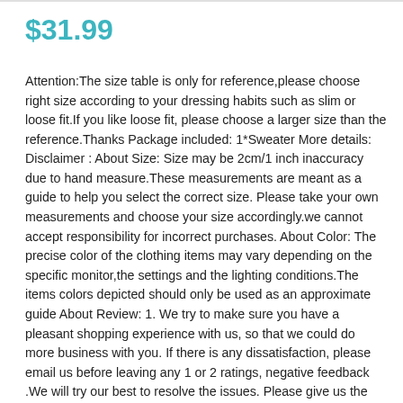$31.99
Attention:The size table is only for reference,please choose right size according to your dressing habits such as slim or loose fit.If you like loose fit, please choose a larger size than the reference.Thanks Package included: 1*Sweater More details: Disclaimer : About Size: Size may be 2cm/1 inch inaccuracy due to hand measure.These measurements are meant as a guide to help you select the correct size. Please take your own measurements and choose your size accordingly.we cannot accept responsibility for incorrect purchases. About Color: The precise color of the clothing items may vary depending on the specific monitor,the settings and the lighting conditions.The items colors depicted should only be used as an approximate guide About Review: 1. We try to make sure you have a pleasant shopping experience with us, so that we could do more business with you. If there is any dissatisfaction, please email us before leaving any 1 or 2 ratings, negative feedback .We will try our best to resolve the issues. Please give us the opportunity to resolve any problem. 2. If you are satisfied with our service, please leave us a 5 star positive feedback. Your recognition will make us more confident to develop business and serve you better.